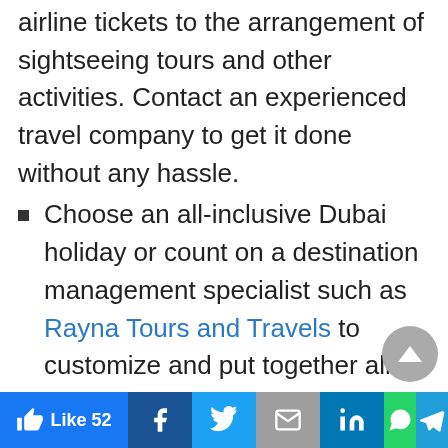airline tickets to the arrangement of sightseeing tours and other activities. Contact an experienced travel company to get it done without any hassle.
Choose an all-inclusive Dubai holiday or count on a destination management specialist such as Rayna Tours and Travels to customize and put together all elements of your Dubai travel.
Dubai is a friendly city whose cultural and traditional roots are embedded in Islamic beliefs. Make sure that you respect its heritage and also take care to dress modestly in the public.
Don't smoke in public, avoid any kind of PDAs,